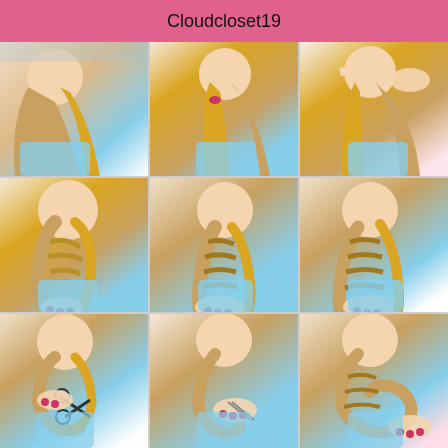Cloudcloset19
[Figure (photo): 9-panel step-by-step hair braiding tutorial collage showing a girl with long blonde hair being braided into an updo style. Row 1: initial hair loose, then gathered, then being sectioned. Row 2: french braid being formed, continued braiding, braid completed to side. Row 3: scissors trimming, pinning the braid up, finished braided updo style.]